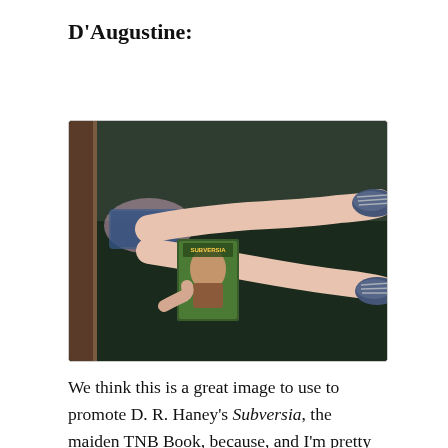D'Augustine:
[Figure (photo): Person lying on back with legs extended upward against a dark green wall, wearing blue canvas sneakers, holding a book (Subversia by D. R. Haney) between their legs. Photo taken from overhead/side angle.]
We think this is a great image to use to promote D. R. Haney's Subversia, the maiden TNB Book, because, and I'm pretty sure Don Draper mentioned this in his pitch to the follow...